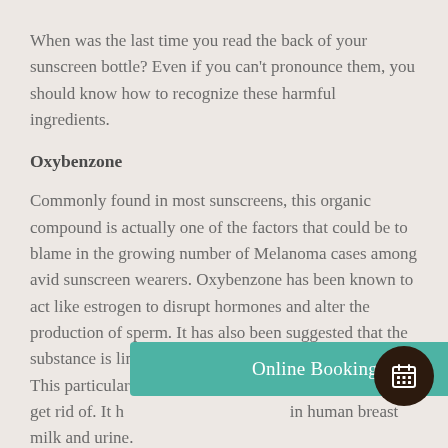When was the last time you read the back of your sunscreen bottle? Even if you can't pronounce them, you should know how to recognize these harmful ingredients.
Oxybenzone
Commonly found in most sunscreens, this organic compound is actually one of the factors that could be to blame in the growing number of Melanoma cases among avid sunscreen wearers. Oxybenzone has been known to act like estrogen to disrupt hormones and alter the production of sperm. It has also been suggested that the substance is linked to endometriosis and breast cancer. This particular ingredient hard to get rid of. It in human breast milk and urine.